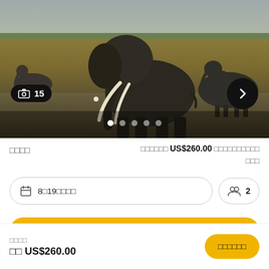[Figure (photo): Photo of a herd of elephants on African savanna, with a large elephant prominently in the center displaying long white tusks. A right-arrow navigation button is in the top right corner. A photo count badge showing '15' is in the bottom left. Five navigation dots are at the bottom center.]
□□□□
□□□□□□ US$260.00 □□□□□□□□□□□□□
□ 8□19□□□□
□□ 2
□□□□
□□ US$260.00
□□□□□□